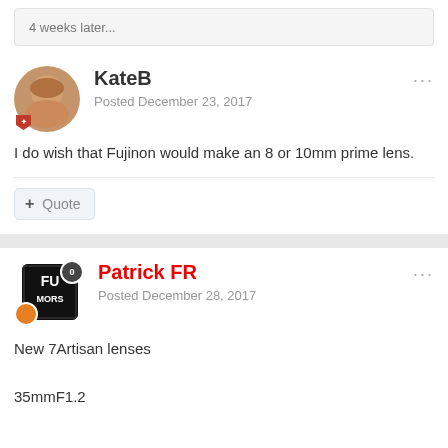4 weeks later...
KateB
Posted December 23, 2017
I do wish that Fujinon would make an 8 or 10mm prime lens.
+ Quote
Patrick FR
Posted December 28, 2017
New 7Artisan lenses
35mmF1.2